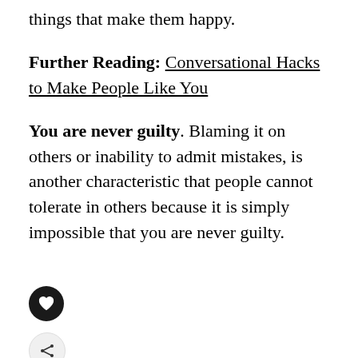things that make them happy.
Further Reading: Conversational Hacks to Make People Like You
You are never guilty. Blaming it on others or inability to admit mistakes, is another characteristic that people cannot tolerate in others because it is simply impossible that you are never guilty.
[Figure (illustration): Heart icon button (like/favorite) and a share button with plus sign, both circular]